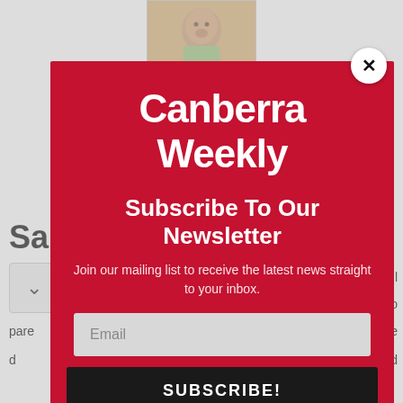[Figure (screenshot): Partially visible background webpage with baby photo at top and article text fragments visible]
Canberra Weekly
Subscribe To Our Newsletter
Join our mailing list to receive the latest news straight to your inbox.
Email
SUBSCRIBE!
[Figure (screenshot): Bottom banner: 1 SEPTEMBER 2022 - Hearing the Land - with infinity logo and orange silhouette figures on dark background]